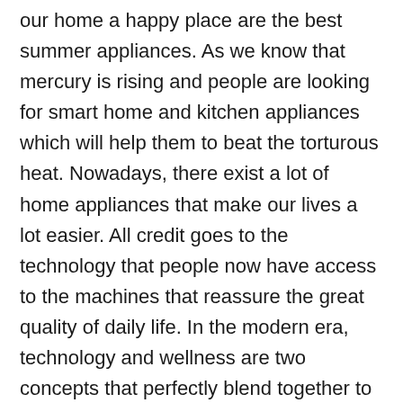our home a happy place are the best summer appliances. As we know that mercury is rising and people are looking for smart home and kitchen appliances which will help them to beat the torturous heat. Nowadays, there exist a lot of home appliances that make our lives a lot easier. All credit goes to the technology that people now have access to the machines that reassure the great quality of daily life. In the modern era, technology and wellness are two concepts that perfectly blend together to offer the peace and comfort we deserve. The companies are now challenging themselves to come up with new and innovative concepts. The summer appliances from top home and kitchen appliances provider in Kolkata, Kridovia provides various breathtaking technologies at remarkable prices.
Kridovia Appliances is one of the best platforms to get premium home and kitchen appliances at the best deals. The